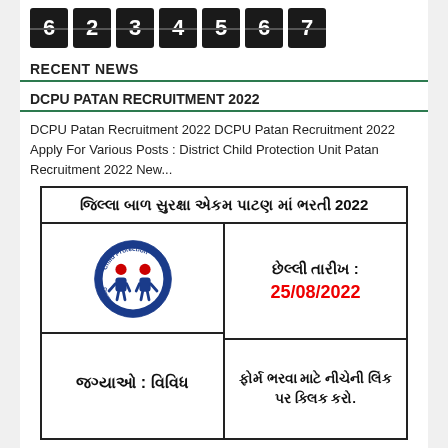[Figure (other): Digital counter display showing digits 6 2 3 4 5 6 7 on dark tiles]
RECENT NEWS
DCPU PATAN RECRUITMENT 2022
DCPU Patan Recruitment 2022 DCPU Patan Recruitment 2022 Apply For Various Posts : District Child Protection Unit Patan Recruitment 2022 New...
[Figure (infographic): Gujarati language infographic for DCPU Patan Recruitment 2022 showing title 'જિલ્લા બાળ સુરક્ષા એકમ પાટણ માં ભરતી 2022', Child Protection Government of Gujarat logo, last date 25/08/2022, positions: various (વિવિધ), and instruction to click the link below to fill the form.]